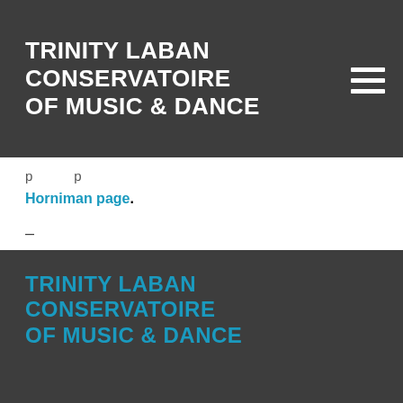TRINITY LABAN CONSERVATOIRE OF MUSIC & DANCE
Horniman page.
–
Image courtesy of Horniman Museum and Gardens.
TRINITY LABAN CONSERVATOIRE OF MUSIC & DANCE